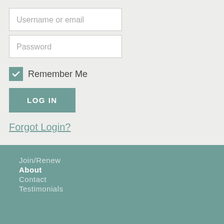Username or email
Password
Remember Me
LOG IN
Forgot Login?
Join/Renew
About
Contact
Testimonials